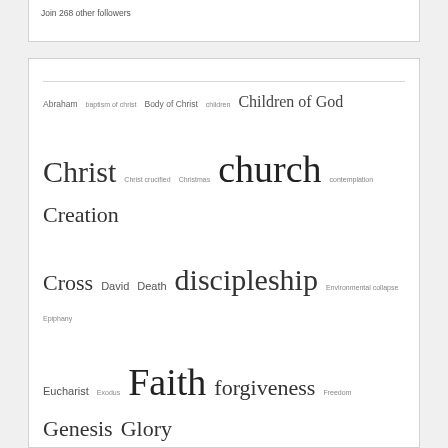Join 268 other followers
[Figure (infographic): A tag/word cloud of religious and theological topics with varying font sizes indicating frequency or importance. Terms include Abraham, baptism of christ, Body of Christ, children, Children of God, Christ, Christ crucified, Christmas, church, contemplation, Creation, Cross, David, Death, discipleship, Environmental collapse, Epiphany, Eucharist, Exodus, Faith, forgiveness, Freedom, Genesis, Glory, Gospel, Grace, Heart, Holy, Hospitality, I AM, Identity, Idols, Individualism, Jacob, Jesus, Jesus Christ, Job, Joseph, Judgement, Lent, Life, Love, Meditation, memorising Scripture, Mercy, Modernity, money, Moses, Mystery, New Creation, Obedience, Paul, Prayer, Priesthood, Psalms, Read bible in a year]